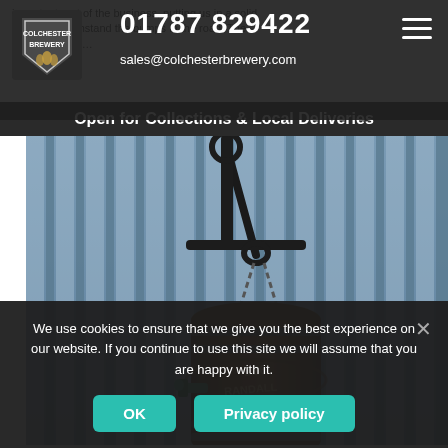important part of the business, putting us in a solid position to withstand the bumps in the road. The …ing ethos is …
01787 829422 | sales@colchesterbrewery.com
Open for Collections & Local Deliveries
[Figure (photo): A wooden barrel hanging on a decorative wrought-iron bracket mounted on a corrugated blue-grey metal wall. The barrel reads '126 RANDALL GREENS'.]
We use cookies to ensure that we give you the best experience on our website. If you continue to use this site we will assume that you are happy with it.
OK | Privacy policy